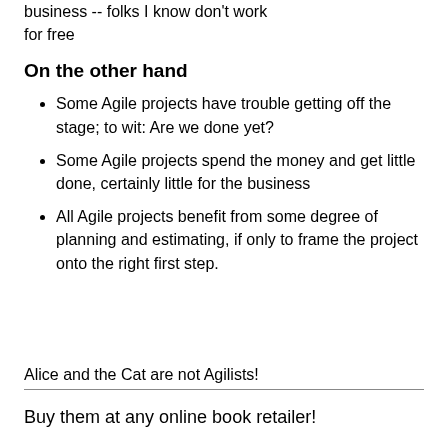business -- folks I know don't work for free
On the other hand
Some Agile projects have trouble getting off the stage; to wit: Are we done yet?
Some Agile projects spend the money and get little done, certainly little for the business
All Agile projects benefit from some degree of planning and estimating, if only to frame the project onto the right first step.
Alice and the Cat are not Agilists!
Buy them at any online book retailer!